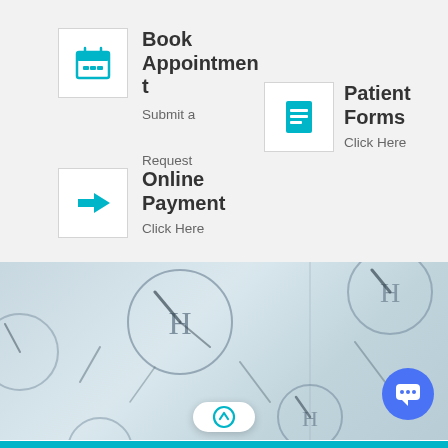[Figure (infographic): Book Appointment card with calendar icon, title 'Book Appointment', subtitle 'Submit a Request']
[Figure (infographic): Patient Forms card with document icon, title 'Patient Forms', subtitle 'Click Here']
[Figure (infographic): Online Payment card with arrow icon, title 'Online Payment', subtitle 'Click Here']
[Figure (photo): Close-up photo of clock faces with H symbols, blurred background in light blue/grey tones]
[Figure (infographic): Scroll-to-top circular button with upward arrow icon and chat bubble button]